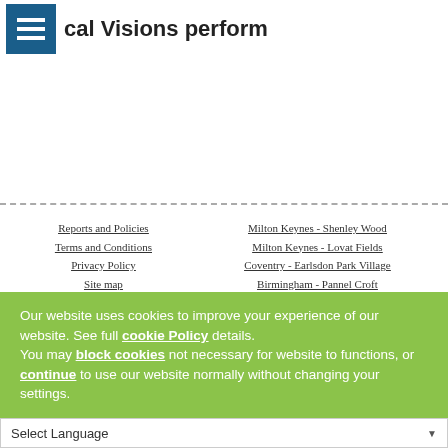cal Visions perform
Reports and Policies
Terms and Conditions
Privacy Policy
Site map
Head Office Map
Milton Keynes - Shenley Wood
Milton Keynes - Lovat Fields
Coventry - Earlsdon Park Village
Birmingham - Pannel Croft
Birmingham - Bournville Gardens
Our website uses cookies to improve your experience of our website. See full cookie Policy details.
You may block cookies not necessary for website to functions, or continue to use our website normally without changing your settings.
Continue
Select Language